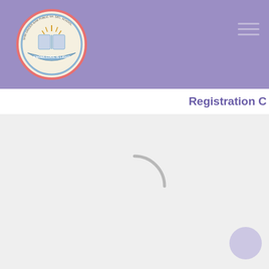[Figure (logo): School logo with circular emblem showing an open book with light rays, surrounded by text reading 'KNOWLEDGE IS LIGHT', with pink/red and blue border rings]
Registration C
[Figure (other): Loading spinner animation - grey curved arc indicating page content loading]
[Figure (other): Floating action button - circular light purple button in bottom right corner]